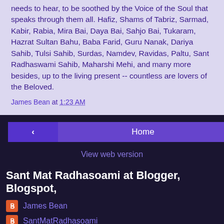needs to hear, to be soothed by the Voice of the Soul that speaks through them all. Hafiz, Shams of Tabriz, Sarmad, Kabir, Rabia, Mira Bai, Daya Bai, Sahjo Bai, Tukaram, Hazrat Sultan Bahu, Baba Farid, Guru Nanak, Dariya Sahib, Tulsi Sahib, Surdas, Namdev, Ravidas, Paltu, Sant Radhaswami Sahib, Maharshi Mehi, and many more besides, up to the living present -- countless are lovers of the Beloved.
James Bean at 1:23 AM
‹
Home
›
View web version
Sant Mat Radhasoami at Blogger, Blogspot,
James Bean
SantMatRadhasoami
Powered by Blogger.